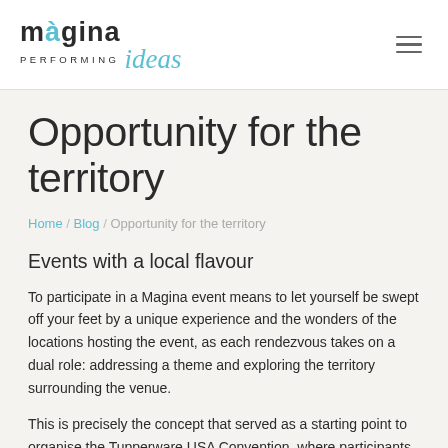[Figure (logo): Màgina Performing Ideas logo — dark sans-serif 'màgina' with accented à, below 'PERFORMING' in small caps, and 'ideas' in italic teal/cyan script]
Opportunity for the territory
Home / Blog / Opportunity for the territory
Events with a local flavour
To participate in a Magina event means to let yourself be swept off your feet by a unique experience and the wonders of the locations hosting the event, as each rendezvous takes on a dual role: addressing a theme and exploring the territory surrounding the venue.
This is precisely the concept that served as a starting point to organise the Tupperware USA Convention, where participants from all over the world were welcomed to a program of events